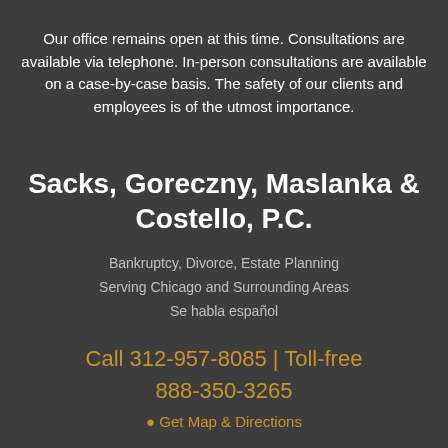Our office remains open at this time. Consultations are available via telephone. In-person consultations are available on a case-by-case basis. The safety of our clients and employees is of the utmost importance.
Sacks, Goreczny, Maslanka & Costello, P.C.
Bankruptcy, Divorce, Estate Planning
Serving Chicago and Surrounding Areas
Se habla español
Call 312-957-8085 | Toll-free 888-350-3265
Get Map & Directions